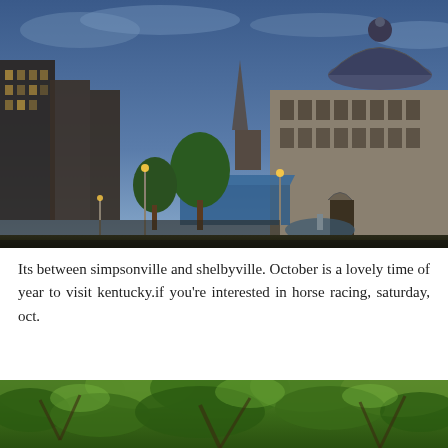[Figure (photo): Aerial dusk view of a downtown Kentucky city showing historic stone courthouse with blue dome, brick buildings, a blue-canopied market structure, trees, and street lights.]
Its between simpsonville and shelbyville. October is a lovely time of year to visit kentucky.if you’re interested in horse racing, saturday, oct.
[Figure (photo): Dense green forest canopy with leafy tree branches filling the frame, photographed from below looking up.]